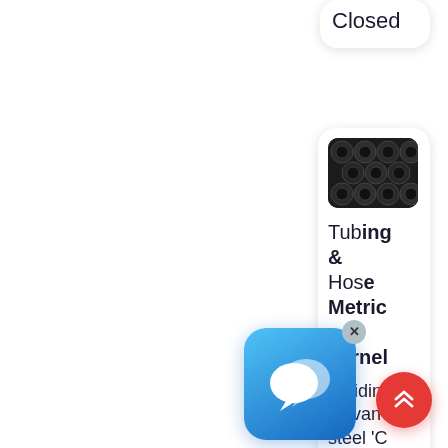Closed
[Figure (photo): Photo of stacked metal tubes/pipes, dark colored, viewed from the end showing circular cross-sections]
Tubing & Hose Metric – Farnell
braiding galvanised steel 'C' and br
[Figure (screenshot): Chat/messaging app icon overlay with blue gradient background and speech bubble icons]
[Figure (other): Red circular scroll-to-top button with double chevron up arrow]